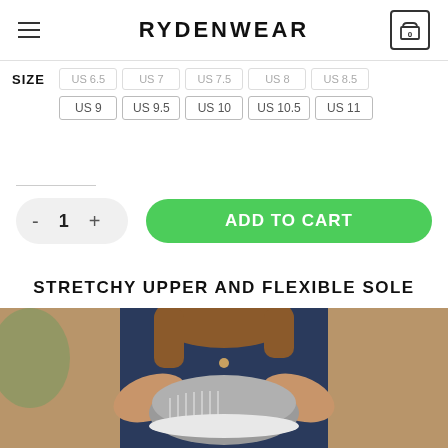RYDENWEAR
SIZE  US 6.5  US 7  US 7.5  US 8  US 8.5  US 9  US 9.5  US 10  US 10.5  US 11
[Figure (other): Quantity selector with minus, 1, plus buttons and green Add to Cart button]
STRETCHY UPPER AND FLEXIBLE SOLE
[Figure (photo): Person holding grey knit sneakers, wearing a dark navy top with buttons]